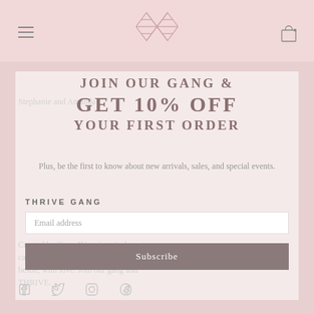[Figure (logo): Diamond heart logo outline in pink/rose color at top center of page]
JOIN OUR GANG & GET 10% OFF YOUR FIRST ORDER
Plus, be the first to know about new arrivals, sales, and special events.
THRIVE GANG
Email address
Subscribe